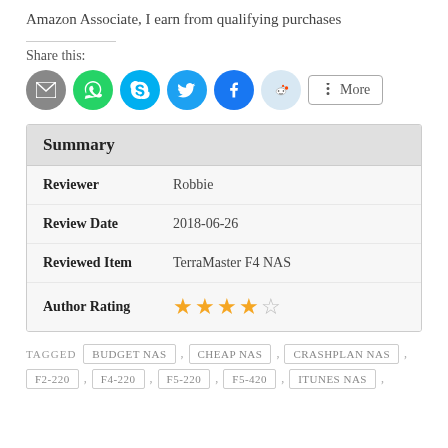Amazon Associate, I earn from qualifying purchases
Share this:
[Figure (other): Social share buttons: Email, WhatsApp, Skype, Twitter, Facebook, Reddit, and More button]
| Field | Value |
| --- | --- |
| Reviewer | Robbie |
| Review Date | 2018-06-26 |
| Reviewed Item | TerraMaster F4 NAS |
| Author Rating | 4/5 stars |
TAGGED  BUDGET NAS , CHEAP NAS , CRASHPLAN NAS , F2-220 , F4-220 , F5-220 , F5-420 , ITUNES NAS ,